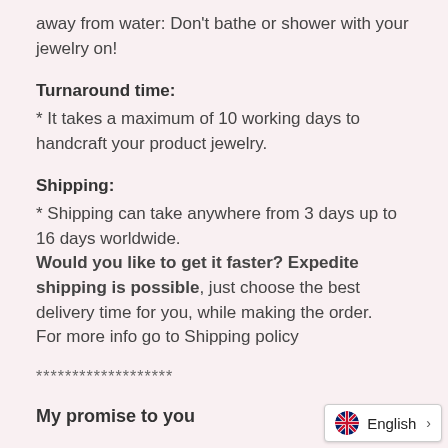away from water: Don't bathe or shower with your jewelry on!
Turnaround time:
* It takes a maximum of 10 working days to handcraft your product jewelry.
Shipping:
* Shipping can take anywhere from 3 days up to 16 days worldwide.
Would you like to get it faster? Expedite shipping is possible, just choose the best delivery time for you, while making the order.
For more info go to Shipping policy
*******************
My promise to you
I make every item of my collection with a lot of love and care. I pay attention to every detail.
You can count on...